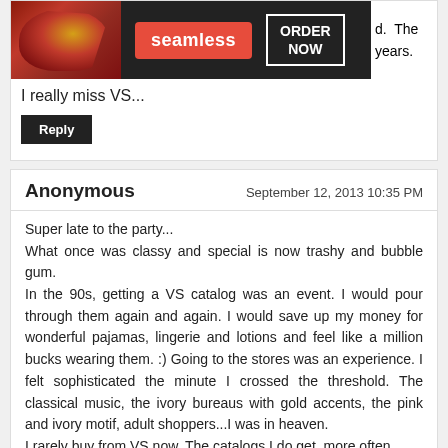[Figure (screenshot): Seamless food delivery advertisement banner with pizza image on left, Seamless logo in red, and ORDER NOW button. Text on right edge reads 'd. The years.']
I really miss VS...
Reply
Anonymous
September 12, 2013 10:35 PM
Super late to the party...
What once was classy and special is now trashy and bubble gum.
In the 90s, getting a VS catalog was an event. I would pour through them again and again. I would save up my money for wonderful pajamas, lingerie and lotions and feel like a million bucks wearing them. :) Going to the stores was an experience. I felt sophisticated the minute I crossed the threshold. The classical music, the ivory bureaus with gold accents, the pink and ivory motif, adult shoppers...I was in heaven.
I rarely buy from VS now. The catalogs I do get, more often